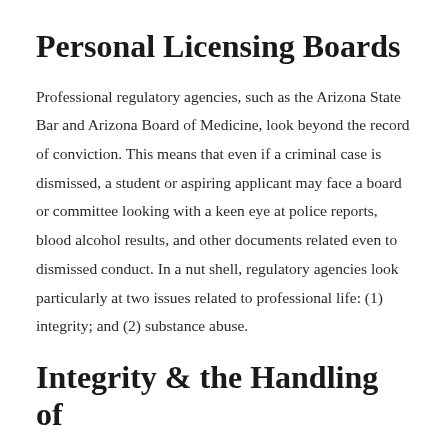Personal Licensing Boards
Professional regulatory agencies, such as the Arizona State Bar and Arizona Board of Medicine, look beyond the record of conviction. This means that even if a criminal case is dismissed, a student or aspiring applicant may face a board or committee looking with a keen eye at police reports, blood alcohol results, and other documents related even to dismissed conduct. In a nut shell, regulatory agencies look particularly at two issues related to professional life: (1) integrity; and (2) substance abuse.
Integrity & the Handling of